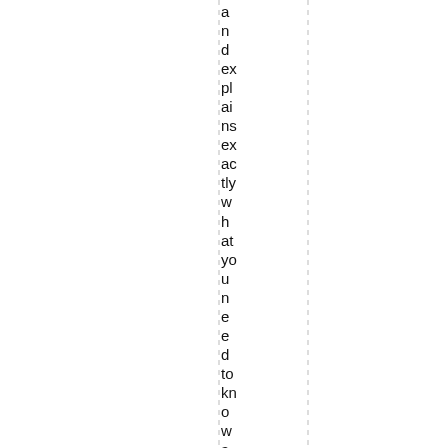and explains exactly what you need to know about it. Thi